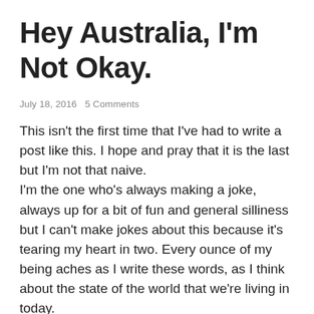Hey Australia, I'm Not Okay.
July 18, 2016  5 Comments
This isn't the first time that I've had to write a post like this. I hope and pray that it is the last but I'm not that naive.
I'm the one who's always making a joke, always up for a bit of fun and general silliness but I can't make jokes about this because it's tearing my heart in two. Every ounce of my being aches as I write these words, as I think about the state of the world that we're living in today.
As I write this, we're in the midst of a controversy in which media personality Sonia Kruger, after stating